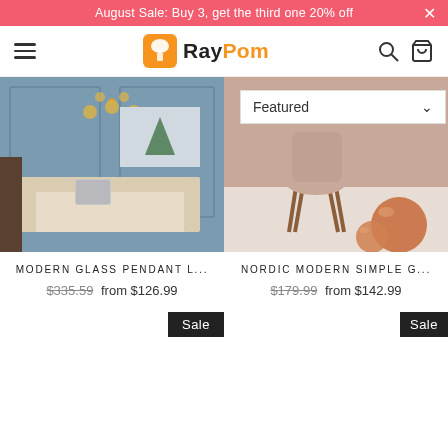August Sale: Buy 3, get the third one 20% off
[Figure (logo): RayPom logo with orange lamp icon]
[Figure (photo): Modern living room with chandelier, sofa, and sailboat painting - product listing image for Modern Glass Pendant Light]
[Figure (photo): Nordic pink room with chair and copper globe pendant lights - product listing image for Nordic Modern Simple G...]
MODERN GLASS PENDANT L...
$335.59 from $126.99
NORDIC MODERN SIMPLE G...
$179.99 from $142.99
Sale
Sale
Featured